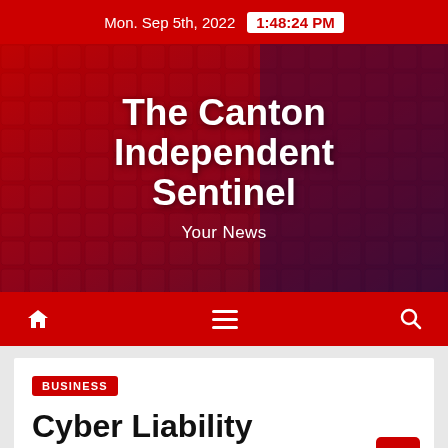Mon. Sep 5th, 2022  1:48:24 PM
The Canton Independent Sentinel
Your News
[Figure (screenshot): Red navigation bar with home icon, hamburger menu, and search icon]
BUSINESS
Cyber Liability Insurance Market